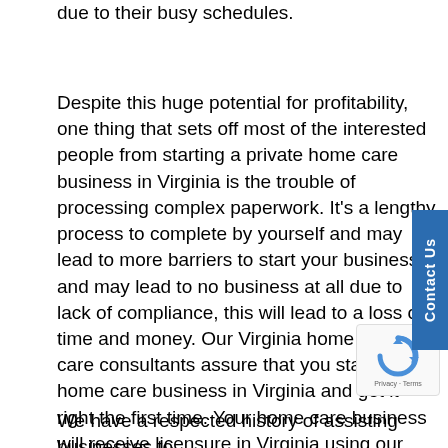due to their busy schedules.
Despite this huge potential for profitability, one thing that sets off most of the interested people from starting a private home care business in Virginia is the trouble of processing complex paperwork. It's a lengthy process to complete by yourself and may lead to more barriers to start your business and may lead to no business at all due to lack of compliance, this will lead to a loss of time and money. Our Virginia home health care consultants assure that you start your home care business in Virginia and get it right the first time. Your home care business will receive licensure in Virginia using our home health care consulting services – guaranteed!
We have a respected history of assisting businesses to